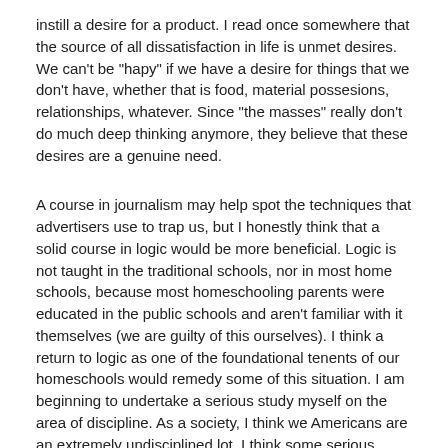instill a desire for a product. I read once somewhere that the source of all dissatisfaction in life is unmet desires. We can't be "hapy" if we have a desire for things that we don't have, whether that is food, material possesions, relationships, whatever. Since "the masses" really don't do much deep thinking anymore, they believe that these desires are a genuine need.
A course in journalism may help spot the techniques that advertisers use to trap us, but I honestly think that a solid course in logic would be more beneficial. Logic is not taught in the traditional schools, nor in most home schools, because most homeschooling parents were educated in the public schools and aren't familiar with it themselves (we are guilty of this ourselves). I think a return to logic as one of the foundational tenents of our homeschools would remedy some of this situation. I am beginning to undertake a serious study myself on the area of discipline. As a society, I think we Americans are an extremely undisciplined lot. I think some serious training in logic and personal discipline (or self-government if you will) would solve many of the societal ills that plague us, including mass consumerism. This is all great and fine for homeschoolers to discuss this, but the problem is nation-wide, and we